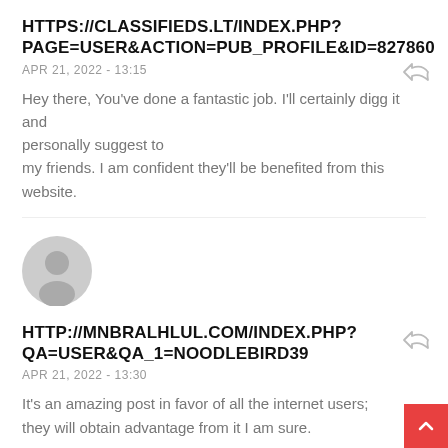HTTPS://CLASSIFIEDS.LT/INDEX.PHP?PAGE=USER&ACTION=PUB_PROFILE&ID=827860
APR 21, 2022 - 13:15
Hey there, You've done a fantastic job. I'll certainly digg it and personally suggest to my friends. I am confident they'll be benefited from this website.
[Figure (illustration): Generic user avatar placeholder - grey circle with person silhouette]
HTTP://MNBRALHLUL.COM/INDEX.PHP?QA=USER&QA_1=NOODLEBIRD39
APR 21, 2022 - 13:30
It's an amazing post in favor of all the internet users; they will obtain advantage from it I am sure.